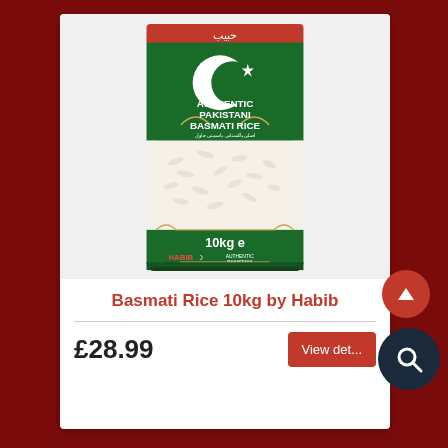[Figure (photo): Habib Basmati Rice 10kg green bag with crescent and star logo, showing white rice grains, labeled AUTHENTIC PAKISTANI BASMATI RICE]
Basmati Rice 10kg by Habib
£28.99
View details